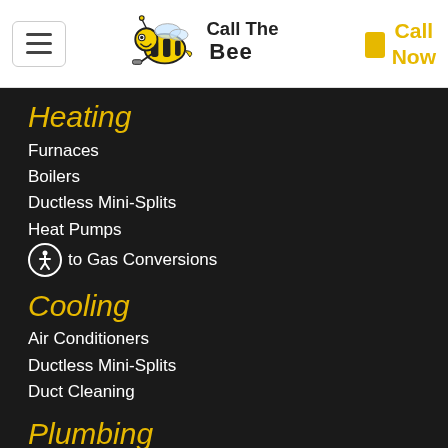[Figure (logo): Call The Bee logo with cartoon bee mascot]
Call Now
Heating
Furnaces
Boilers
Ductless Mini-Splits
Heat Pumps
to Gas Conversions
Cooling
Air Conditioners
Ductless Mini-Splits
Duct Cleaning
Plumbing
Water Heating
Tankless On Demand Water Heating